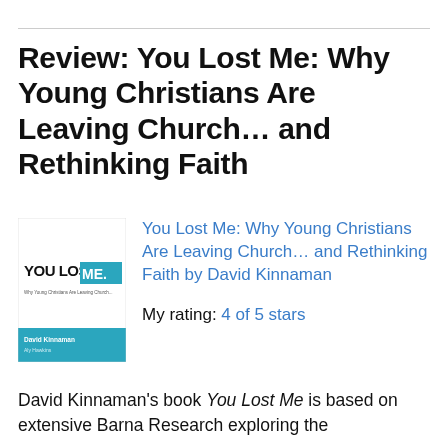Review: You Lost Me: Why Young Christians Are Leaving Church… and Rethinking Faith
[Figure (illustration): Book cover of 'You Lost Me: Why Young Christians Are Leaving Church... and Rethinking Faith' by David Kinnaman. White cover with bold black text 'YOU LOST ME.' and a teal/blue strip at the bottom with the author's name.]
You Lost Me: Why Young Christians Are Leaving Church… and Rethinking Faith by David Kinnaman
My rating: 4 of 5 stars
David Kinnaman's book You Lost Me is based on extensive Barna Research exploring the